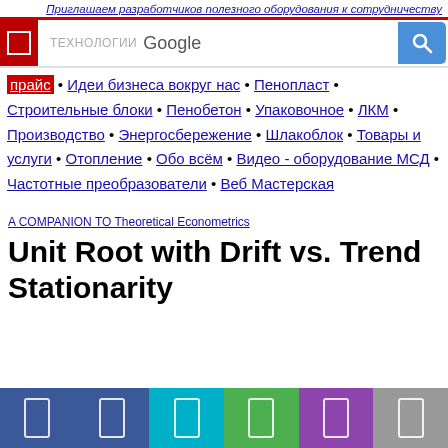Приглашаем разработчиков полезного оборудования к сотрудничеству
[Figure (screenshot): Google search bar with ТЕХНОЛОГИИ Google label and blue search button]
прайс • Идеи бизнеса вокруг нас • Пенопласт • Строительные блоки • Пенобетон • Упаковочное • ЛКМ • Производство • Энергосбережение • Шлакоблок • Товары и услуги • Отопление • Обо всём • Видео - оборудование МСД • Частотные преобразователи • Веб Мастерская
A COMPANION TO Theoretical Econometrics
Unit Root with Drift vs. Trend Stationarity